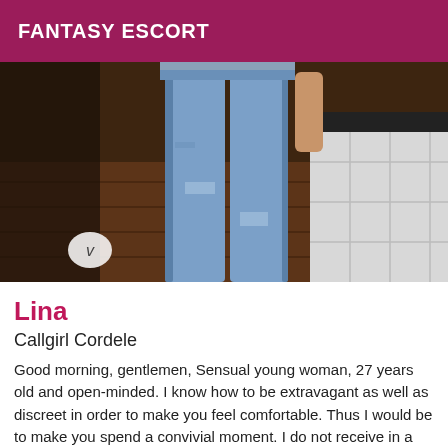FANTASY ESCORT
[Figure (photo): Photo of a person wearing ripped blue jeans standing indoors on a wooden floor next to white tiled wall. A watermark 'v' logo visible in bottom left.]
Lina
Callgirl Cordele
Good morning, gentlemen, Sensual young woman, 27 years old and open-minded. I know how to be extravagant as well as discreet in order to make you feel comfortable. Thus I would be to make you spend a convivial moment. I do not receive in a pleasant setting my photos are 100% real so I do not send any additional photos. Please make an appointment well in advance